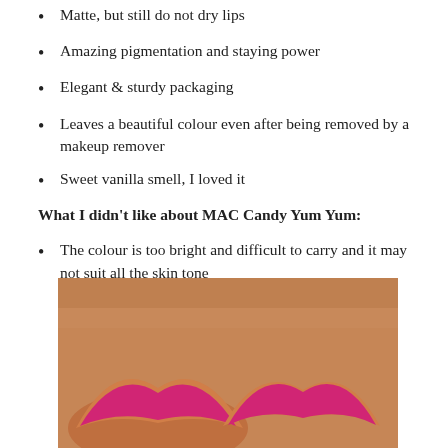Matte, but still do not dry lips
Amazing pigmentation and staying power
Elegant & sturdy packaging
Leaves a beautiful colour even after being removed by a makeup remover
Sweet vanilla smell, I loved it
What I didn't like about MAC Candy Yum Yum:
The colour is too bright and difficult to carry and it may not suit all the skin tone
[Figure (photo): Photo of bright pink/magenta lipstick swatched on skin, showing two lip-shaped swatches on a tan-skinned hand or arm]